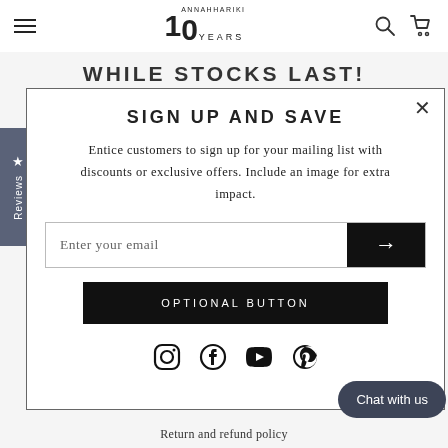10 ANNAHHARIKI YEARS — navigation header with hamburger menu, logo, search and cart icons
WHILE STOCKS LAST!
SIGN UP AND SAVE
Entice customers to sign up for your mailing list with discounts or exclusive offers. Include an image for extra impact.
Enter your email
OPTIONAL BUTTON
[Figure (other): Social media icons row: Instagram, Facebook, YouTube, Pinterest]
Chat with us
Return and refund policy